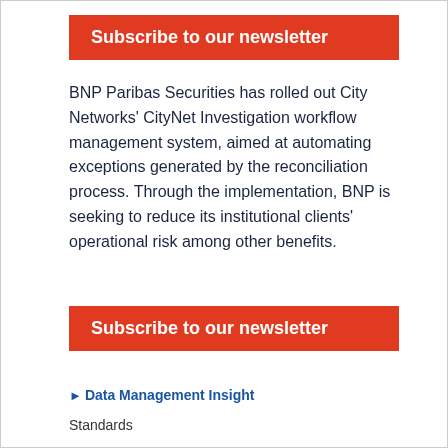Subscribe to our newsletter
BNP Paribas Securities has rolled out City Networks' CityNet Investigation workflow management system, aimed at automating exceptions generated by the reconciliation process. Through the implementation, BNP is seeking to reduce its institutional clients' operational risk among other benefits.
Subscribe to our newsletter
▶ Data Management Insight
Standards